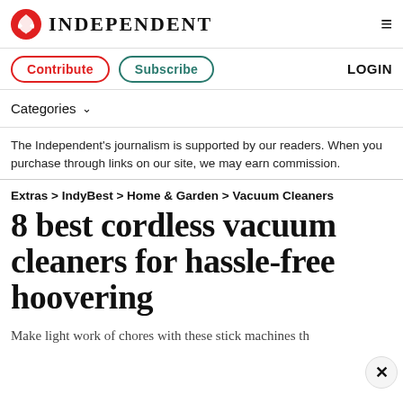INDEPENDENT
Contribute  Subscribe  LOGIN
Categories
The Independent's journalism is supported by our readers. When you purchase through links on our site, we may earn commission.
Extras > IndyBest > Home & Garden > Vacuum Cleaners
8 best cordless vacuum cleaners for hassle-free hoovering
Make light work of chores with these stick machines th